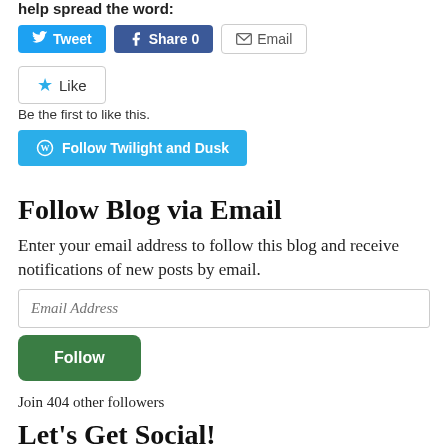help spread the word:
[Figure (screenshot): Social sharing buttons: Tweet (blue), Share 0 (dark blue Facebook), Email (grey outline)]
[Figure (screenshot): Like button with star icon]
Be the first to like this.
[Figure (screenshot): Follow Twilight and Dusk button (teal with WordPress icon)]
Follow Blog via Email
Enter your email address to follow this blog and receive notifications of new posts by email.
[Figure (screenshot): Email Address input field and Follow button (green)]
Join 404 other followers
Let's Get Social!